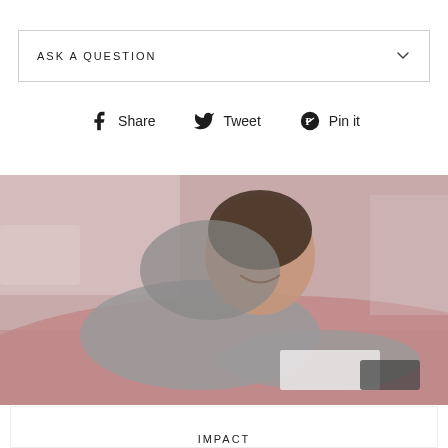ASK A QUESTION
Share  Tweet  Pin it
[Figure (photo): A smiling young woman in a grey hoodie leaning over a pink table, working on something with her hands, in what appears to be a classroom or workshop setting.]
IMPACT